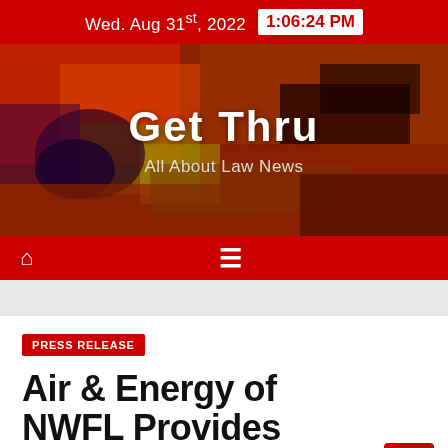Wed. Aug 31st, 2022  1:06:24 PM
[Figure (illustration): Abstract painting banner with red, orange, yellow, and dark tones serving as background for the Get Thru website header]
Get Thru
All About Law News
🏠 ☰
PRESS RELEASE
Air & Energy of NWFL Provides Reliable Air